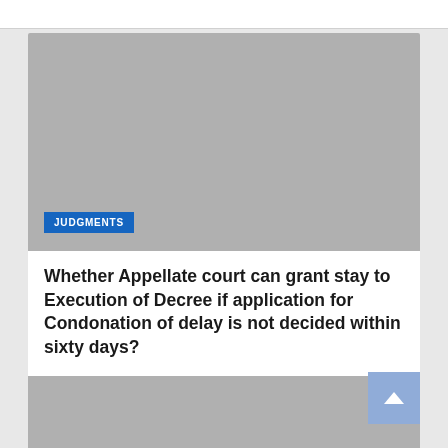[Figure (photo): Gray placeholder image with JUDGMENTS category badge in blue]
Whether Appellate court can grant stay to Execution of Decree if application for Condonation of delay is not decided within sixty days?
[Figure (photo): Gray placeholder image at bottom of page]